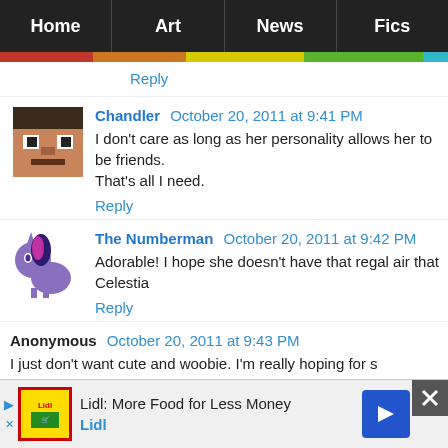Home | Art | News | Fics
Reply
Chandler  October 20, 2011 at 9:41 PM
I don't care as long as her personality allows her to be friends. That's all I need.
Reply
The Numberman  October 20, 2011 at 9:42 PM
Adorable! I hope she doesn't have that regal air that Celestia
Reply
Anonymous  October 20, 2011 at 9:43 PM
I just don't want cute and woobie. I'm really hoping for s believable baddass. I'd like her to be powerful and confiden
[Figure (screenshot): Lidl advertisement banner: Lidl: More Food for Less Money, with Lidl logo and navigation arrow]